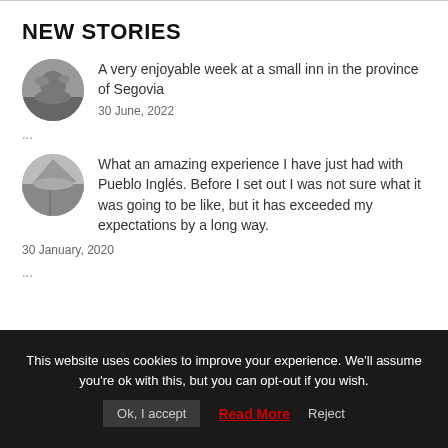NEW STORIES
[Figure (photo): Circular black and white avatar photo, nature scene]
A very enjoyable week at a small inn in the province of Segovia
30 June, 2022
...
[Figure (photo): Circular black and white avatar photo, landscape with figure]
What an amazing experience I have just had with Pueblo Inglés. Before I set out I was not sure what it was going to be like, but it has exceeded my expectations by a long way.
30 January, 2020
...
This website uses cookies to improve your experience. We'll assume you're ok with this, but you can opt-out if you wish.
Ok, I accept  Read More  Reject